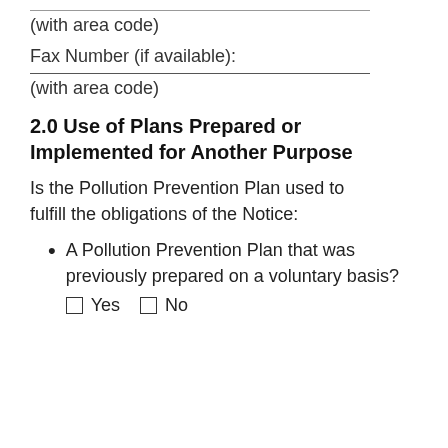(with area code)
Fax Number (if available):
(with area code)
2.0 Use of Plans Prepared or Implemented for Another Purpose
Is the Pollution Prevention Plan used to fulfill the obligations of the Notice:
A Pollution Prevention Plan that was previously prepared on a voluntary basis?
☐ Yes ☐ No